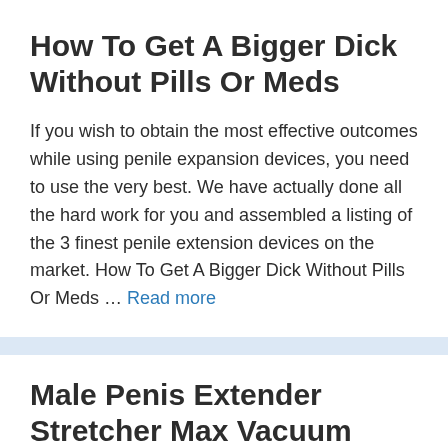How To Get A Bigger Dick Without Pills Or Meds
If you wish to obtain the most effective outcomes while using penile expansion devices, you need to use the very best. We have actually done all the hard work for you and assembled a listing of the 3 finest penile extension devices on the market. How To Get A Bigger Dick Without Pills Or Meds … Read more
Male Penis Extender Stretcher Max Vacuum